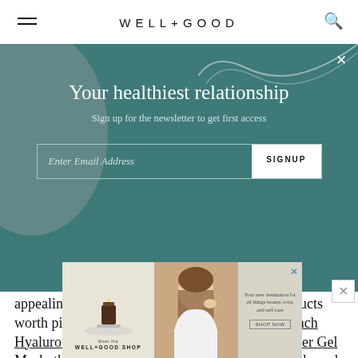WELL+GOOD
[Figure (screenshot): Newsletter signup overlay on teal/dark green background with decorative grey circle and white swirl. Title: 'Your healthiest relationship'. Subtitle: 'Sign up for the newsletter to get first access'. Email input field with SIGNUP button.]
appealing to add to your cart. Other on-offer products worth picking up? The ultra-hydrating Water Drench Hyaluronic Cloud Liquid Gel Serum and Cucumber Gel Mask, the skin-resurfacing Pumpkin Enzyme Mask, and the ultra-luxe 24k Gold Mask.
[Figure (advertisement): Well+Good Shop advertisement banner with product photo (candle on plate), model photo (woman touching her hair), and text: 'Your new destination for all things beauty, cozy, and self-care' with SHOP NOW button. Logo: WELL+GOOD SHOP.]